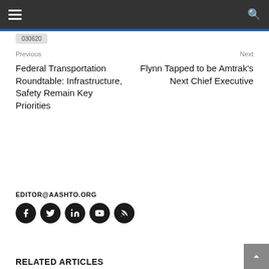030620
Previous
Next
Federal Transportation Roundtable: Infrastructure, Safety Remain Key Priorities
Flynn Tapped to be Amtrak's Next Chief Executive
EDITOR@AASHTO.ORG
[Figure (illustration): Social media icons: Facebook, Twitter, LinkedIn, YouTube, RSS feed — dark circular buttons]
RELATED ARTICLES